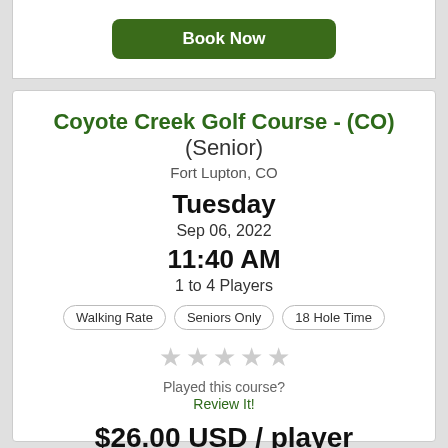[Figure (other): Book Now button at top of page (partially visible card above main card)]
Coyote Creek Golf Course - (CO) (Senior)
Fort Lupton, CO
Tuesday
Sep 06, 2022
11:40 AM
1 to 4 Players
Walking Rate | Seniors Only | 18 Hole Time
Played this course? Review It!
$26.00 USD / player
Book Now